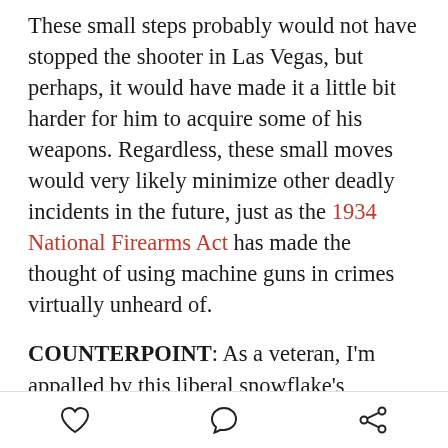These small steps probably would not have stopped the shooter in Las Vegas, but perhaps, it would have made it a little bit harder for him to acquire some of his weapons. Regardless, these small moves would very likely minimize other deadly incidents in the future, just as the 1934 National Firearms Act has made the thought of using machine guns in crimes virtually unheard of.
COUNTERPOINT: As a veteran, I'm appalled by this liberal snowflake's ridiculous "logic." If you pass a law against guns, it's only going to affect the people who actually obey the laws. Criminals won't care about it, and they'll get their guns some other way. Oh, and by the way, there's this pesky thing called the Constitution which I think it's quite clear is meant to protect...
[heart icon] [comment icon] [share icon]